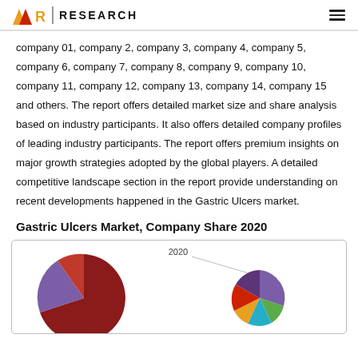XR RESEARCH
company 01, company 2, company 3, company 4, company 5, company 6, company 7, company 8, company 9, company 10, company 11, company 12, company 13, company 14, company 15 and others. The report offers detailed market size and share analysis based on industry participants. It also offers detailed company profiles of leading industry participants. The report offers premium insights on major growth strategies adopted by the global players. A detailed competitive landscape section in the report provide understanding on recent developments happened in the Gastric Ulcers market.
Gastric Ulcers Market, Company Share 2020
[Figure (pie-chart): Gastric Ulcers Market Company Share 2020 pie chart showing two views side by side — a large pie and a smaller breakdown pie. Colors include dark red/maroon, purple, green, teal/cyan, and orange slices.]